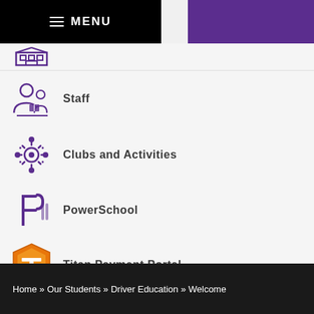MENU
Staff
Clubs and Activities
PowerSchool
Titan Payment Portal
Home » Our Students » Driver Education » Welcome